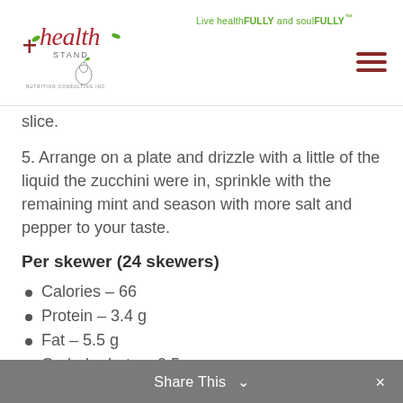[Figure (logo): Health Stand Nutrition Consulting Inc. logo with stylized text and leaf/pear motifs]
Live healthFULLY and soulFULLY™
slice.
5. Arrange on a plate and drizzle with a little of the liquid the zucchini were in, sprinkle with the remaining mint and season with more salt and pepper to your taste.
Per skewer (24 skewers)
Calories – 66
Protein – 3.4 g
Fat – 5.5 g
Carbohydrate – 0.5 g
Fibre – 0.17 g
Share This ∨  ✕